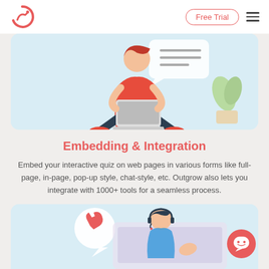[Figure (logo): Outgrow logo - red circle with stylized G/analytics icon]
Free Trial
[Figure (illustration): Person sitting cross-legged using a laptop with speech bubbles and plant elements on a light blue background]
Embedding & Integration
Embed your interactive quiz on web pages in various forms like full-page, in-page, pop-up style, chat-style, etc. Outgrow also lets you integrate with 1000+ tools for a seamless process.
[Figure (illustration): Customer support agent with headset at computer, speech bubble with wrench/tool icon, on light blue background]